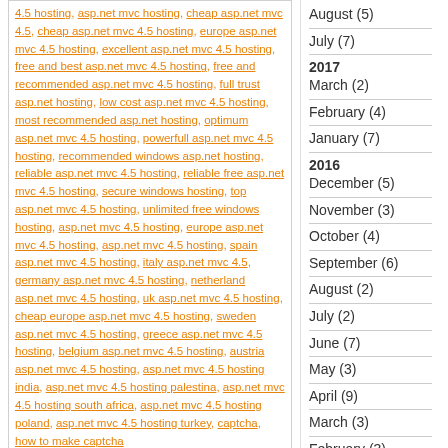tag links: 4.5 hosting, asp.net mvc hosting, cheap asp.net mvc 4.5, cheap asp.net mvc 4.5 hosting, europe asp.net mvc 4.5 hosting, excellent asp.net mvc 4.5 hosting, free and best asp.net mvc 4.5 hosting, free and recommended asp.net mvc 4.5 hosting, full trust asp.net hosting, low cost asp.net mvc 4.5 hosting, most recommended asp.net hosting, optimum asp.net mvc 4.5 hosting, powerfull asp.net mvc 4.5 hosting, recommended windows asp.net hosting, reliable asp.net mvc 4.5 hosting, reliable free asp.net mvc 4.5 hosting, secure windows hosting, top asp.net mvc 4.5 hosting, unlimited free windows hosting, asp.net mvc 4.5 hosting, europe asp.net mvc 4.5 hosting, asp.net mvc 4.5 hosting, spain asp.net mvc 4.5 hosting, italy asp.net mvc 4.5, germany asp.net mvc 4.5 hosting, netherland asp.net mvc 4.5 hosting, uk asp.net mvc 4.5 hosting, cheap europe asp.net mvc 4.5 hosting, sweden asp.net mvc 4.5 hosting, greece asp.net mvc 4.5 hosting, belgium asp.net mvc 4.5 hosting, austria asp.net mvc 4.5 hosting, asp.net mvc 4.5 hosting india, asp.net mvc 4.5 hosting palestina, asp.net mvc 4.5 hosting south africa, asp.net mvc 4.5 hosting poland, asp.net mvc 4.5 hosting turkey, captcha, how to make captcha
Categories: ASP.Net 4.5.1 | ASP.NET 4.5.2
Actions: E-mail | Kick it! | Permalink | Comments (0) | Comment RSS
ASP.NET 4.5 Hosting - HostForLIFE.eu :: How to Make CAPTCHA?
April 15, 2016 21:42 by Anthony
A CAPTCHA (an acronym for "Completely Automated Public Turing test to tell Computers and Humans Apart") is a type of challenge-response test used in computing to determine whether or not the user is human. The term was coined in 2003 by Luis von Ahn, Manuel Blum, Nicholas J. Hopper, and John Langford.
August (5)
July (7)
2017
March (2)
February (4)
January (7)
2016
December (5)
November (3)
October (4)
September (6)
August (2)
July (2)
June (7)
May (3)
April (9)
March (3)
February (3)
January (2)
2015